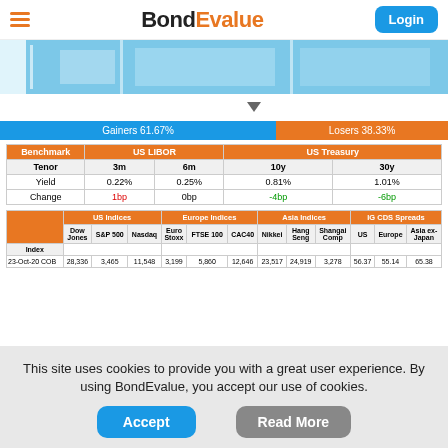BondEvalue
[Figure (photo): Building facade with blue glass windows]
[Figure (infographic): Gainers 61.67% / Losers 38.33% bar with triangle indicator]
| Benchmark | US LIBOR |  | US Treasury |  |
| --- | --- | --- | --- | --- |
| Tenor | 3m | 6m | 10y | 30y |
| Yield | 0.22% | 0.25% | 0.81% | 1.01% |
| Change | 1bp | 0bp | -4bp | -6bp |
|  | US Indices |  |  | Europe Indices |  |  | Asia Indices |  |  | IG CDS Spreads |  |  |
| --- | --- | --- | --- | --- | --- | --- | --- | --- | --- | --- | --- | --- |
| Index | Dow Jones | S&P 500 | Nasdaq | Euro Stoxx | FTSE 100 | CAC40 | Nikkei | Hang Seng | Shangai Comp | US | Europe | Asia ex-Japan |
| 23-Oct-20 COB | 28,336 | 3,465 | 11,548 | 3,199 | 5,860 | 12,646 | 23,517 | 24,919 | 3,278 | 56.37 | 55.14 | 65.38 |
This site uses cookies to provide you with a great user experience. By using BondEvalue, you accept our use of cookies.